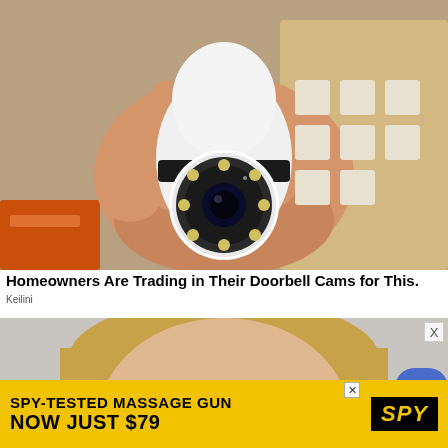[Figure (photo): A hand holding a white egg-shaped Wi-Fi security camera with a circular lens array and LED lights, against a cardboard box background with multiple white devices visible]
Homeowners Are Trading in Their Doorbell Cams for This.
Keilini
[Figure (photo): Close-up of a woman's face with blue eyes and blonde hair, with a blue-gloved hand visible at the right edge]
[Figure (screenshot): Advertisement banner: SPY-TESTED MASSAGE GUN NOW JUST $79 with SPY logo on yellow background]